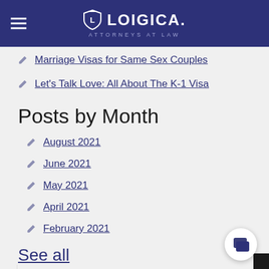LOIGICA. ATTORNEYS AT LAW
Marriage Visas for Same Sex Couples
Let's Talk Love: All About The K-1 Visa
Posts by Month
August 2021
June 2021
May 2021
April 2021
February 2021
See all